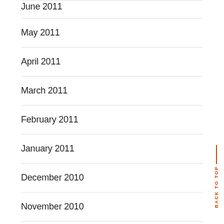June 2011
May 2011
April 2011
March 2011
February 2011
January 2011
December 2010
November 2010
October 2010